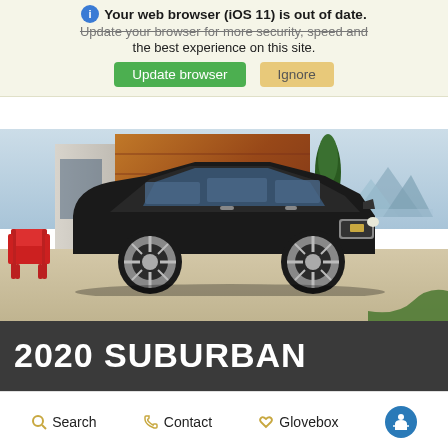Your web browser (iOS 11) is out of date. Update your browser for more security, speed and the best experience on this site.
Update browser  Ignore
[Figure (photo): Black Chevrolet Suburban SUV parked in front of a modern house with wood siding, blue sky with mountains in background, red outdoor chair on the left]
2020 SUBURBAN
Search  Contact  Glovebox